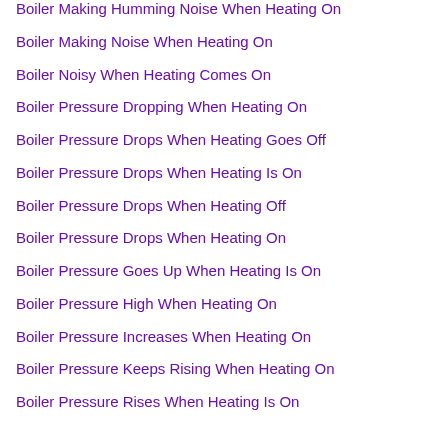Boiler Making Humming Noise When Heating On
Boiler Making Noise When Heating On
Boiler Noisy When Heating Comes On
Boiler Pressure Dropping When Heating On
Boiler Pressure Drops When Heating Goes Off
Boiler Pressure Drops When Heating Is On
Boiler Pressure Drops When Heating Off
Boiler Pressure Drops When Heating On
Boiler Pressure Goes Up When Heating Is On
Boiler Pressure High When Heating On
Boiler Pressure Increases When Heating On
Boiler Pressure Keeps Rising When Heating On
Boiler Pressure Rises When Heating Is On